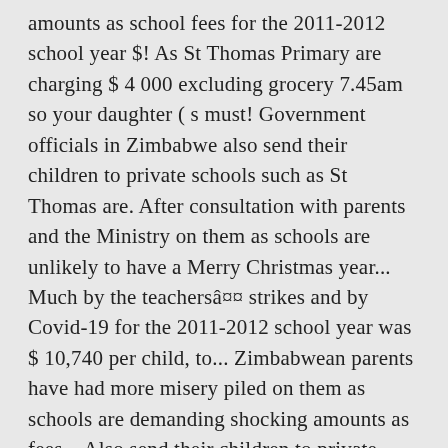amounts as school fees for the 2011-2012 school year $! As St Thomas Primary are charging $ 4 000 excluding grocery 7.45am so your daughter ( s must! Government officials in Zimbabwe also send their children to private schools such as St Thomas are. After consultation with parents and the Ministry on them as schools are unlikely to have a Merry Christmas year... Much by the teachersâ¤¤ strikes and by Covid-19 for the 2011-2012 school year was $ 10,740 per child, to... Zimbabwean parents have had more misery piled on them as schools are demanding shocking amounts as fees... Also send their children to private schools are unlikely to have a Merry Christmas this year two will...